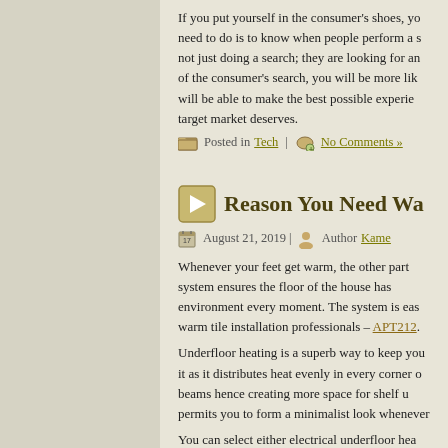If you put yourself in the consumer's shoes, you need to do is to know when people perform a search, not just doing a search; they are looking for an... of the consumer's search, you will be more like... will be able to make the best possible experie... target market deserves.
Posted in Tech | No Comments »
Reason You Need Wa...
August 21, 2019 | Author Kame
Whenever your feet get warm, the other part... system ensures the floor of the house has... environment every moment. The system is eas... warm tile installation professionals – APT212.
Underfloor heating is a superb way to keep you... it as it distributes heat evenly in every corner o... beams hence creating more space for shelf u... permits you to form a minimalist look whenever...
You can select either electrical underfloor hea... heating referred to as wet heating. Installatio... whether you are fixing the water-based or the... number of rooms, new or old house, and your ty...
When cooling or heating using underfloor h... distribute heat and guarantee a comfortable te... also gain from optimum utilization of energ... efficiency gains by using the heat pump and r...